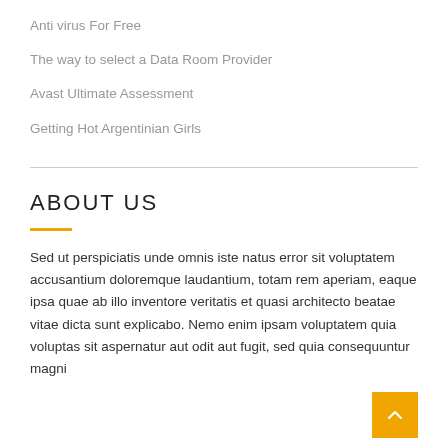Anti virus For Free
The way to select a Data Room Provider
Avast Ultimate Assessment
Getting Hot Argentinian Girls
ABOUT US
Sed ut perspiciatis unde omnis iste natus error sit voluptatem accusantium doloremque laudantium, totam rem aperiam, eaque ipsa quae ab illo inventore veritatis et quasi architecto beatae vitae dicta sunt explicabo. Nemo enim ipsam voluptatem quia voluptas sit aspernatur aut odit aut fugit, sed quia consequuntur magni